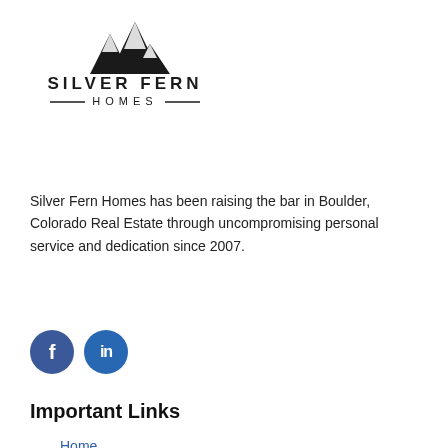[Figure (logo): Silver Fern Homes logo with mountain peaks illustration and text 'SILVER FERN HOMES']
Silver Fern Homes has been raising the bar in Boulder, Colorado Real Estate through uncompromising personal service and dedication since 2007.
[Figure (illustration): Two circular social media icons: Facebook (f) and LinkedIn (in) in blue]
Important Links
Home
About Us
Listing Alerts